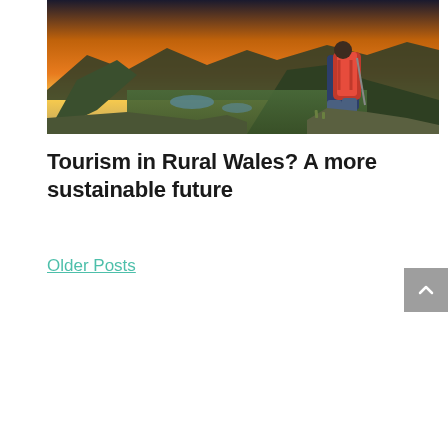[Figure (photo): A hiker with a large red and black backpack sitting on a rocky mountain edge, looking out over a dramatic green valley with lakes and mountains under a golden sunset sky in Wales.]
Tourism in Rural Wales? A more sustainable future
Older Posts